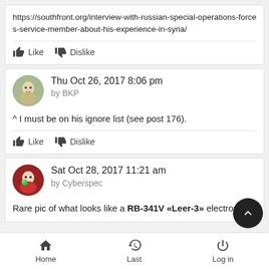https://southfront.org/interview-with-russian-special-operations-forces-service-member-about-his-experience-in-syria/
Like  Dislike
Thu Oct 26, 2017 8:06 pm by BKP
^ I must be on his ignore list (see post 176).
Like  Dislike
Sat Oct 28, 2017 11:21 am by Cyberspec
Rare pic of what looks like a RB-341V «Leer-3» electronic
Home  Last  Log in